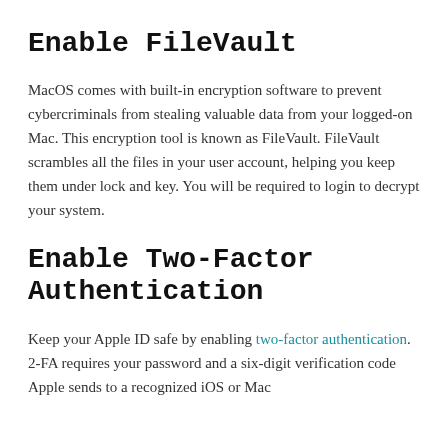Enable FileVault
MacOS comes with built-in encryption software to prevent cybercriminals from stealing valuable data from your logged-on Mac. This encryption tool is known as FileVault. FileVault scrambles all the files in your user account, helping you keep them under lock and key. You will be required to login to decrypt your system.
Enable Two-Factor Authentication
Keep your Apple ID safe by enabling two-factor authentication. 2-FA requires your password and a six-digit verification code Apple sends to a recognized iOS or Mac